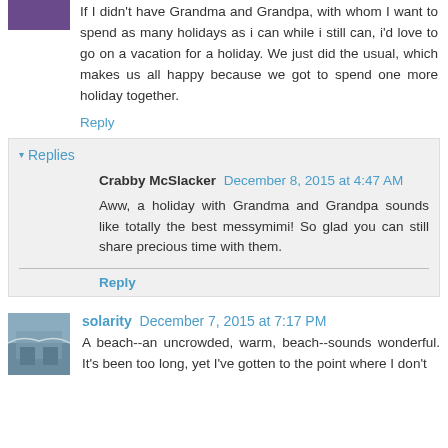If I didn't have Grandma and Grandpa, with whom I want to spend as many holidays as i can while i still can, i'd love to go on a vacation for a holiday. We just did the usual, which makes us all happy because we got to spend one more holiday together.
Reply
▾ Replies
Crabby McSlacker December 8, 2015 at 4:47 AM
Aww, a holiday with Grandma and Grandpa sounds like totally the best messymimi! So glad you can still share precious time with them.
Reply
solarity December 7, 2015 at 7:17 PM
A beach--an uncrowded, warm, beach--sounds wonderful. It's been too long, yet I've gotten to the point where I don't